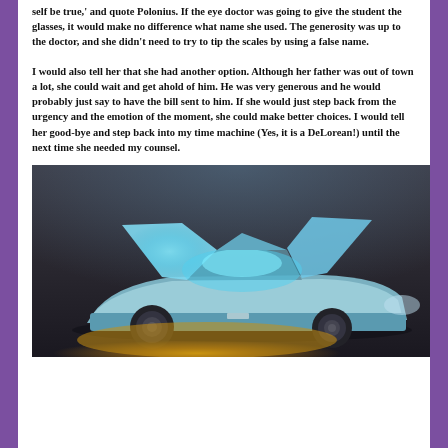self be true,' and quote Polonius. If the eye doctor was going to give the student the glasses, it would make no difference what name she used. The generosity was up to the doctor, and she didn't need to try to tip the scales by using a false name.
I would also tell her that she had another option. Although her father was out of town a lot, she could wait and get ahold of him. He was very generous and he would probably just say to have the bill sent to him. If she would just step back from the urgency and the emotion of the moment, she could make better choices. I would tell her good-bye and step back into my time machine (Yes, it is a DeLorean!) until the next time she needed my counsel.
[Figure (photo): A DeLorean sports car with gull-wing doors open, glowing with teal/cyan interior light and orange underglow, photographed in a dark concrete garage setting.]